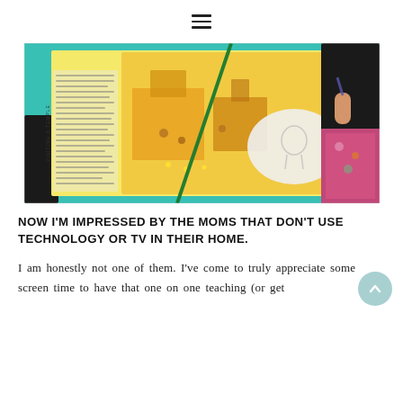≡
[Figure (photo): A child drawing on paper on a teal fabric surface, with an open illustrated book (showing a temple scene with text) nearby. A green pencil crosses over the scene. The child's hand and sleeve are visible on the right.]
NOW I'M IMPRESSED BY THE MOMS THAT DON'T USE TECHNOLOGY OR TV IN THEIR HOME.
I am honestly not one of them. I've come to truly appreciate some screen time to have that one on one teaching (or get